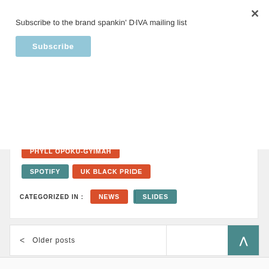Subscribe to the brand spankin' DIVA mailing list
Subscribe
× (close button)
KALEIDOSCOPE TRUST
LADY PHYLL
LGBTQI EDUCATION
PHYLL OPOKU-GYIMAH
SPOTIFY
UK BLACK PRIDE
CATEGORIZED IN :
NEWS
SLIDES
< Older posts